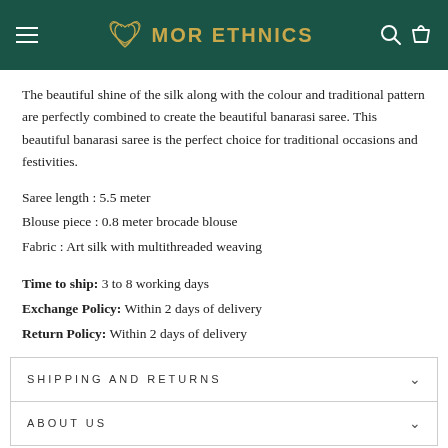MOR ETHNICS
The beautiful shine of the silk along with the colour and traditional pattern are perfectly combined to create the beautiful banarasi saree. This beautiful banarasi saree is the perfect choice for traditional occasions and festivities.
Saree length : 5.5 meter
Blouse piece : 0.8 meter brocade blouse
Fabric : Art silk with multithreaded weaving
Time to ship: 3 to 8 working days
Exchange Policy: Within 2 days of delivery
Return Policy: Within 2 days of delivery
SHIPPING AND RETURNS
ABOUT US